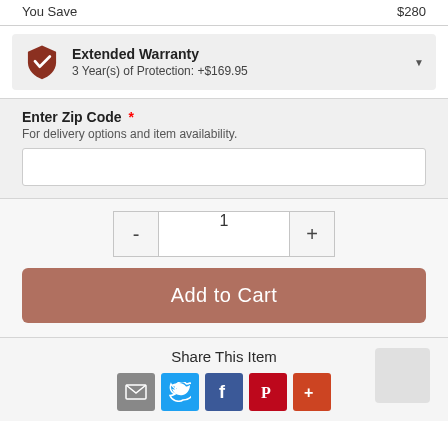You Save  $280
Extended Warranty
3 Year(s) of Protection: +$169.95
Enter Zip Code
For delivery options and item availability.
1
Add to Cart
Share This Item